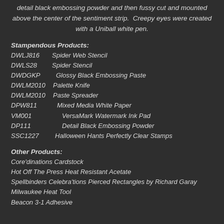detail black embossing powder and then fussy cut and mounted above the center of the sentiment strip. Creepy eyes were created with a Uniball white pen.
Stampendous Products:
DWLJ816   Spider Web Stencil
DWLS28   Spider Stencil
DWDGKP   Glossy Black Embossing Paste
DWLM2010  Palette Knife
DWLM2010  Paste Spreader
DPW811   Mixed Media White Paper
VM001   VersaMark Watermark Ink Pad
DP111   Detail Black Embossing Powder
SSC1227  Halloween Hants Perfectly Clear Stamps
Other Products:
Core'dinations Cardstock
Hot Off The Press Heat Resistant Acetate
Spellbinders Celebra'tions Pierced Rectangles by Richard Garay
Milwaukee Heat Tool
Beacon 3-1 Adhesive